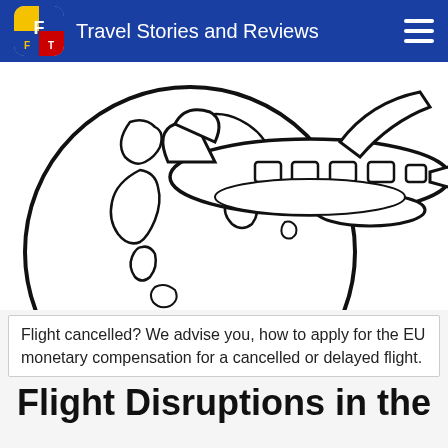Travel Stories and Reviews
[Figure (illustration): Line drawing illustration of an airplane flying in front of a globe, shown in black and white sketch style on white background.]
Flight cancelled? We advise you, how to apply for the EU monetary compensation for a cancelled or delayed flight.
Flight Disruptions in the